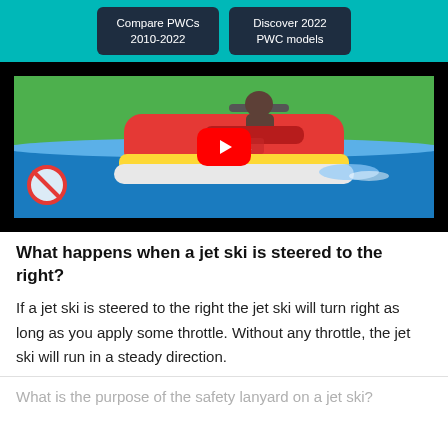Compare PWCs 2010-2022 | Discover 2022 PWC models
[Figure (screenshot): Video thumbnail showing a jet ski on water with a no-entry/prohibition sign in the lower left and a YouTube play button in the center. The scene shows a colorful animated jet ski with a rider, on blue water with a green background.]
What happens when a jet ski is steered to the right?
If a jet ski is steered to the right the jet ski will turn right as long as you apply some throttle. Without any throttle, the jet ski will run in a steady direction.
What is the purpose of the safety lanyard on a jet ski?